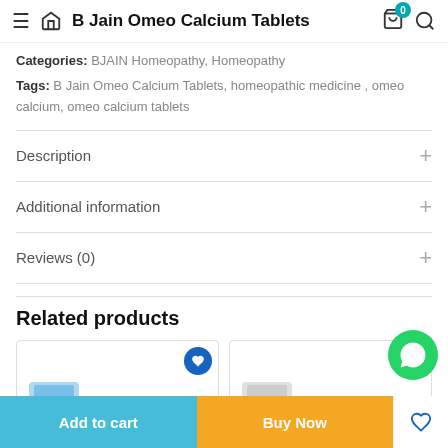B Jain Omeo Calcium Tablets
Categories: BJAIN Homeopathy, Homeopathy
Tags: B Jain Omeo Calcium Tablets, homeopathic medicine , omeo calcium, omeo calcium tablets
Description
Additional information
Reviews (0)
Related products
[Figure (screenshot): Two product cards partially visible at the bottom of the page, each with a blue heart/wishlist button]
Add to cart
Buy Now